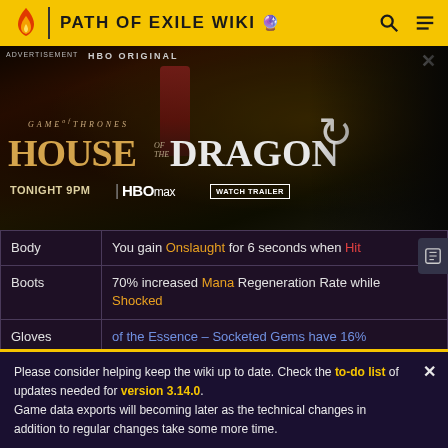PATH OF EXILE WIKI
[Figure (screenshot): HBO Max advertisement for House of the Dragon - Tonight 9PM, with Watch Trailer button. Shows a woman in red dress against dark dragon cave background. HBO ORIGINAL label at top left, close button at top right, loading spinner on right side.]
| Slot | Description |
| --- | --- |
| Body | You gain Onslaught for 6 seconds when Hit |
| Boots | 70% increased Mana Regeneration Rate while Shocked |
| Gloves | of the Essence - Socketed Gems have 16% |
Please consider helping keep the wiki up to date. Check the to-do list of updates needed for version 3.14.0. Game data exports will becoming later as the technical changes in addition to regular changes take some more time.